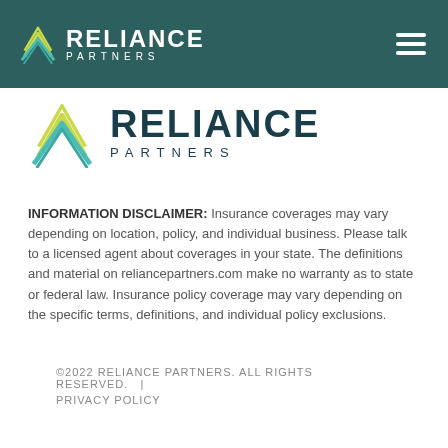RELIANCE PARTNERS
[Figure (logo): Reliance Partners logo (large) with geometric arrow icon in teal and yellow-green, company name RELIANCE PARTNERS]
INFORMATION DISCLAIMER: Insurance coverages may vary depending on location, policy, and individual business. Please talk to a licensed agent about coverages in your state. The definitions and material on reliancepartners.com make no warranty as to state or federal law. Insurance policy coverage may vary depending on the specific terms, definitions, and individual policy exclusions.
©2022 RELIANCE PARTNERS. ALL RIGHTS RESERVED.  |  PRIVACY POLICY